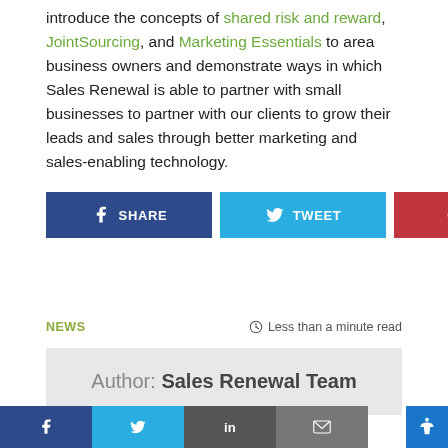introduce the concepts of shared risk and reward, JointSourcing, and Marketing Essentials to area business owners and demonstrate ways in which Sales Renewal is able to partner with small businesses to partner with our clients to grow their leads and sales through better marketing and sales-enabling technology.
[Figure (other): Social share buttons: SHARE (Facebook, blue), TWEET (Twitter, light blue), PIN (Pinterest, red)]
NEWS   Less than a minute read
Author: Sales Renewal Team
[Figure (other): Bottom social bar with Facebook, Twitter, LinkedIn, Mail icons and accessibility button]